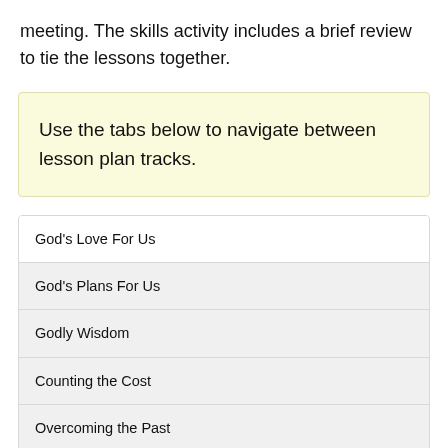meeting. The skills activity includes a brief review to tie the lessons together.
Use the tabs below to navigate between lesson plan tracks.
God's Love For Us
God's Plans For Us
Godly Wisdom
Counting the Cost
Overcoming the Past